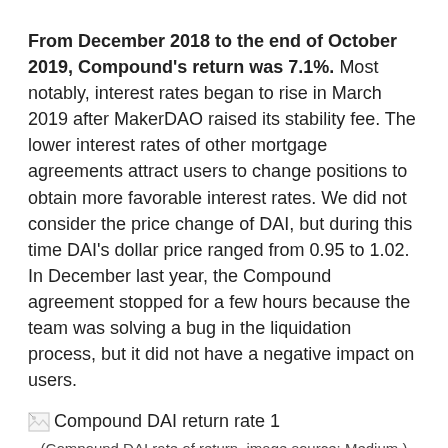From December 2018 to the end of October 2019, Compound's return was 7.1%. Most notably, interest rates began to rise in March 2019 after MakerDAO raised its stability fee. The lower interest rates of other mortgage agreements attract users to change positions to obtain more favorable interest rates. We did not consider the price change of DAI, but during this time DAI's dollar price ranged from 0.95 to 1.02. In December last year, the Compound agreement stopped for a few hours because the team was solving a bug in the liquidation process, but it did not have a negative impact on users.
[Figure (other): Broken image placeholder labeled 'Compound DAI return rate 1']
(Compound DAI rate of return, image source: Medium )